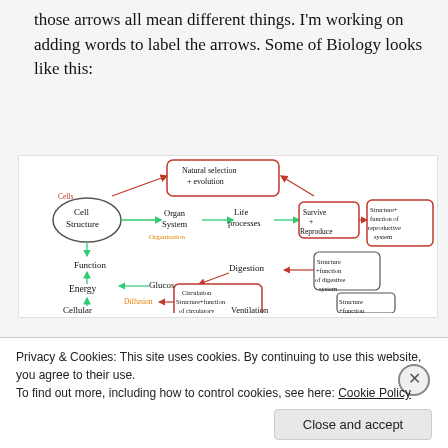those arrows all mean different things. I'm working on adding words to label the arrows. Some of Biology looks like this:
[Figure (other): Hand-drawn biology concept map showing: Cell Structure (oval) connected to Organ System, Life processes, Survive + Reproduce (red bordered boxes), Natural selection + evolution (red bordered box at top), Function, Energy, Cellular (bottom left). Connections also include Glucose, Digestion, Circulation Structure+function of circulatory system (red bordered), Diffusion, Ventilation, Structure+function of digestive system, Structure+function of reproductive system. Labels include 'Cells' and 'Organisation' in orange/red. Arrows are in teal/green and red.]
Privacy & Cookies: This site uses cookies. By continuing to use this website, you agree to their use.
To find out more, including how to control cookies, see here: Cookie Policy
Close and accept